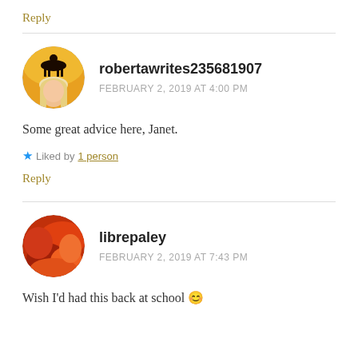Reply
[Figure (photo): Circular avatar of robertawrites235681907 showing a silhouette of a person on horseback against an orange sunset sky with a blonde woman's face visible below]
robertawrites235681907
FEBRUARY 2, 2019 AT 4:00 PM
Some great advice here, Janet.
★ Liked by 1 person
Reply
[Figure (photo): Circular avatar of librepaley showing a red and orange abstract or close-up image]
librepaley
FEBRUARY 2, 2019 AT 7:43 PM
Wish I'd had this back at school 😊